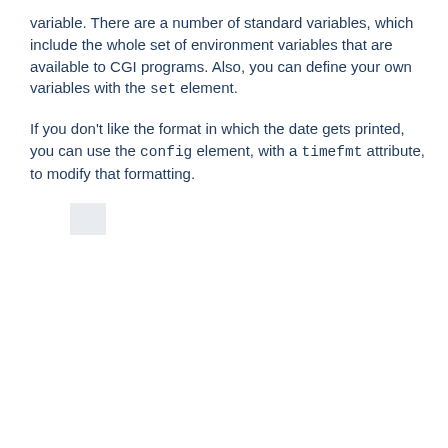variable. There are a number of standard variables, which include the whole set of environment variables that are available to CGI programs. Also, you can define your own variables with the set element.
If you don't like the format in which the date gets printed, you can use the config element, with a timefmt attribute, to modify that formatting.
[Figure (other): Code block showing SSI config and echo elements: <!--#config timefmt="%A %B %d, %Y" --> Today is <!--#echo var="DATE_LOCAL" -->]